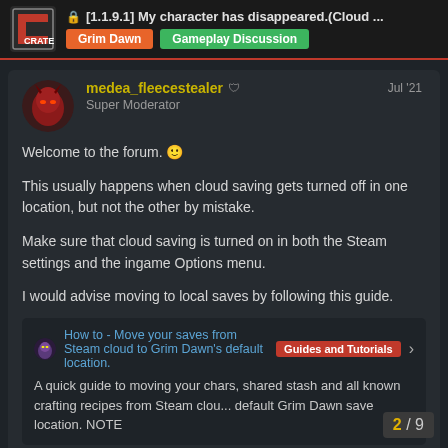[1.1.9.1] My character has disappeared.(Cloud ...
Grim Dawn | Gameplay Discussion
medea_fleecestealer  Super Moderator  Jul '21
Welcome to the forum. 🙂
This usually happens when cloud saving gets turned off in one location, but not the other by mistake.
Make sure that cloud saving is turned on in both the Steam settings and the ingame Options menu.
I would advise moving to local saves by following this guide.
How to - Move your saves from Steam cloud to Grim Dawn's default location.  Guides and Tutorials
A quick guide to moving your chars, shared stash and all known crafting recipes from Steam clou... default Grim Dawn save location. NOTE